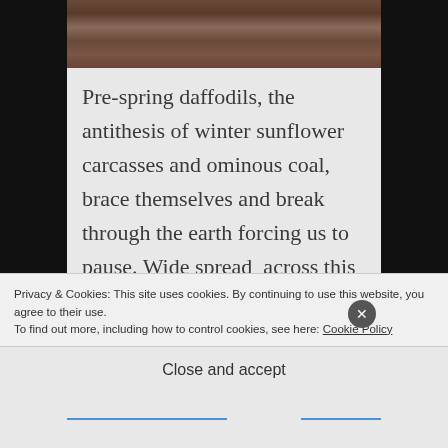[Figure (photo): Aerial or landscape photograph showing a winding road or path through brown/earthy terrain viewed from above, in sepia-like tones]
Pre-spring daffodils, the antithesis of winter sunflower carcasses and ominous coal, brace themselves and break through the earth forcing us to pause. Wide spread  across this area in yards, gardens and forests, wild and rampant, they are often the first sign that we are tipping closer to the
Privacy & Cookies: This site uses cookies. By continuing to use this website, you agree to their use.
To find out more, including how to control cookies, see here: Cookie Policy
Close and accept